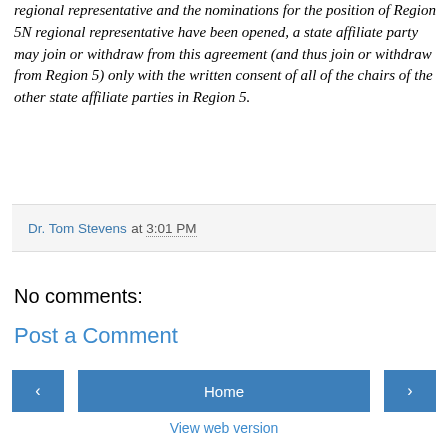regional representative and the nominations for the position of Region 5N regional representative have been opened, a state affiliate party may join or withdraw from this agreement (and thus join or withdraw from Region 5) only with the written consent of all of the chairs of the other state affiliate parties in Region 5.
Dr. Tom Stevens at 3:01 PM
No comments:
Post a Comment
Home
View web version
About Me
Dr. Tom Stevens